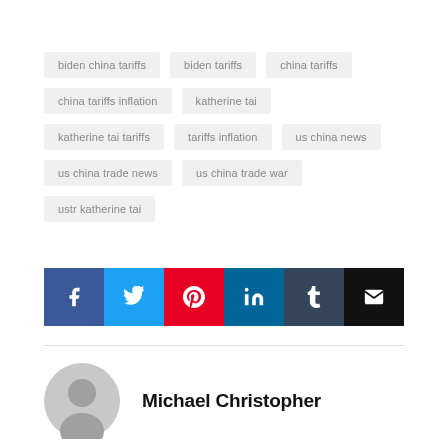biden china tariffs
biden tariffs
china tariffs
china tariffs inflation
katherine tai
katherine tai tariffs
tariffs inflation
us china news
us china trade news
us china trade war
ustr katherine tai
[Figure (infographic): Social sharing buttons: Facebook (blue), Twitter (light blue), Pinterest (red), LinkedIn (teal), Tumblr (dark blue-gray), Email (black)]
Michael Christopher